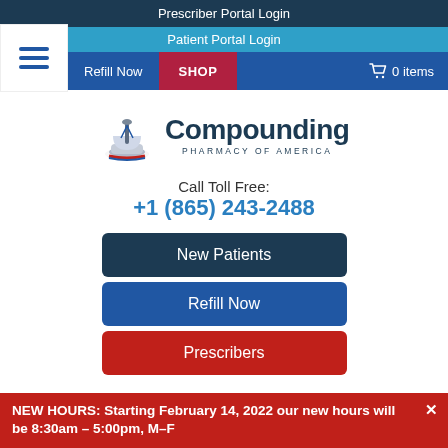Prescriber Portal Login
Patient Portal Login
Refill Now  SHOP  0 items
[Figure (logo): Compounding Pharmacy of America logo with mortar and pestle icon and American flag element]
Call Toll Free:
+1 (865) 243-2488
New Patients
Refill Now
Prescribers
NEW HOURS: Starting February 14, 2022 our new hours will be 8:30am – 5:00pm, M–F